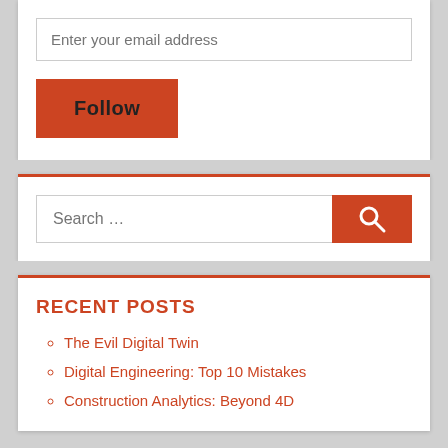Enter your email address
Follow
Search …
RECENT POSTS
The Evil Digital Twin
Digital Engineering: Top 10 Mistakes
Construction Analytics: Beyond 4D